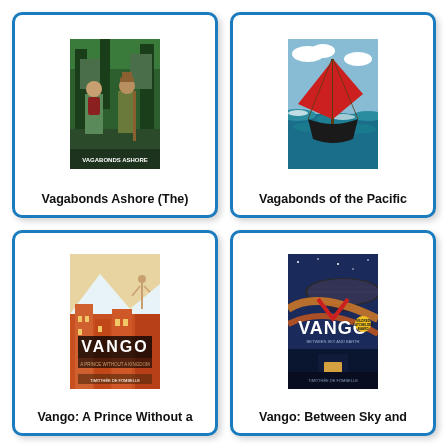[Figure (illustration): Book cover grid showing four books: Vagabonds Ashore (The), Vagabonds of the Pacific, Vango: A Prince Without a Kingdom, Vango: Between Sky and Earth]
Vagabonds Ashore (The)
Vagabonds of the Pacific
Vango: A Prince Without a
Vango: Between Sky and